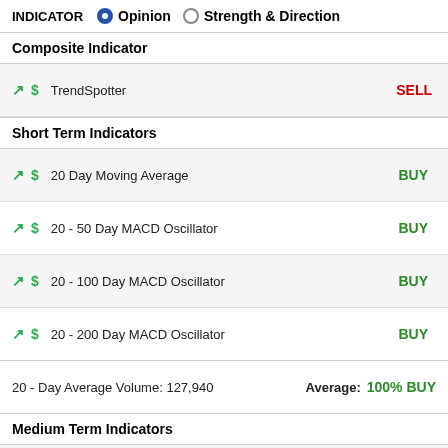INDICATOR  Opinion  Strength & Direction
Composite Indicator
TrendSpotter  SELL
Short Term Indicators
20 Day Moving Average  BUY
20 - 50 Day MACD Oscillator  BUY
20 - 100 Day MACD Oscillator  BUY
20 - 200 Day MACD Oscillator  BUY
20 - Day Average Volume: 127,940  Average: 100% BUY
Medium Term Indicators
50 Day Moving Average  BUY
SELL
SELL